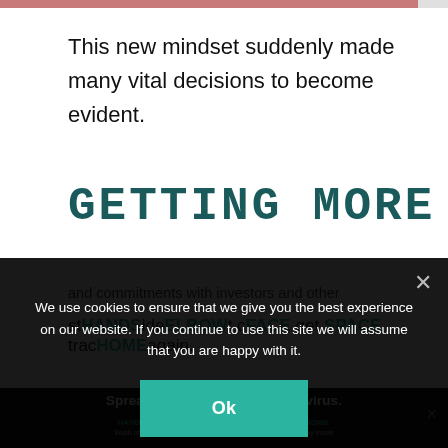This new mindset suddenly made many vital decisions to become evident.
GETTING MORE
We use cookies to ensure that we give you the best experience on our website. If you continue to use this site we will assume that you are happy with it.
Ok
and commitments with investors and other st...lde...t c... get trac...again.
Spread the message. Stop the virus.
HANDS Wash often  ELBOW Cough into  FACE Don't touch  SPACE Avoid crowds  HOME Stay inside
2,561,043  Confirmed  679,819  Recovered
Now, with Freegrowth, we've come to follow